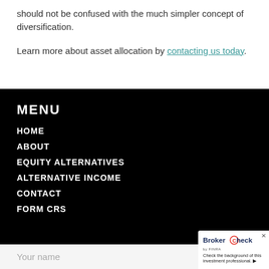should not be confused with the much simpler concept of diversification.
Learn more about asset allocation by contacting us today.
MENU
HOME
ABOUT
EQUITY ALTERNATIVES
ALTERNATIVE INCOME
CONTACT
FORM CRS
Your name
[Figure (logo): BrokerCheck by FINRA logo with text: Check the background of this investment professional.]